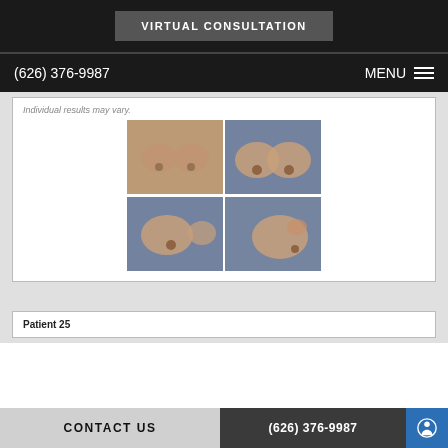VIRTUAL CONSULTATION
(626) 376-9987   MENU
Individual results may vary.
[Figure (photo): Four-panel before and after breast augmentation photos: top-left frontal before, top-right frontal after, bottom-left oblique after, bottom-right lateral after]
Patient 25
CONTACT US   (626) 376-9987